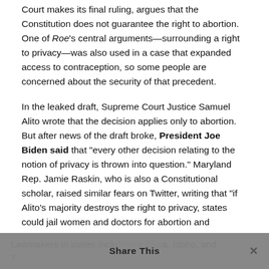Court makes its final ruling, argues that the Constitution does not guarantee the right to abortion. One of Roe's central arguments—surrounding a right to privacy—was also used in a case that expanded access to contraception, so some people are concerned about the security of that precedent.
In the leaked draft, Supreme Court Justice Samuel Alito wrote that the decision applies only to abortion. But after news of the draft broke, President Joe Biden said that "every other decision relating to the notion of privacy is thrown into question." Maryland Rep. Jamie Raskin, who is also a Constitutional scholar, raised similar fears on Twitter, writing that "if Alito's majority destroys the right to privacy, states could jail women and doctors for abortion and contraception offenses."
Lawmakers in states including Louisiana, Idaho, and Tennessee have gone even further, and have proposed for all...